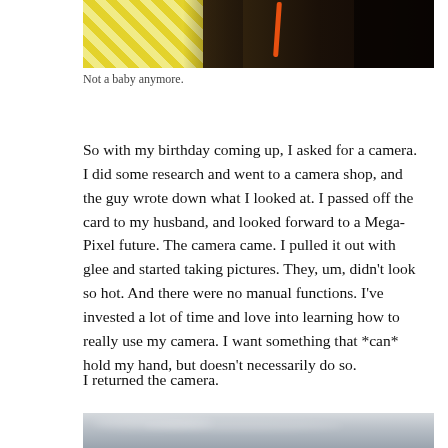[Figure (photo): Top portion of a photo showing yellow diagonal stripes on the left and a dark background on the right with an orange stick/rod visible]
Not a baby anymore.
So with my birthday coming up, I asked for a camera. I did some research and went to a camera shop, and the guy wrote down what I looked at. I passed off the card to my husband, and looked forward to a Mega-Pixel future. The camera came. I pulled it out with glee and started taking pictures. They, um, didn't look so hot. And there were no manual functions. I've invested a lot of time and love into learning how to really use my camera. I want something that *can* hold my hand, but doesn't necessarily do so.
I returned the camera.
[Figure (photo): Bottom portion of a photo showing a gray overcast sky with clouds]